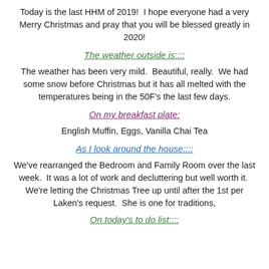Today is the last HHM of 2019!  I hope everyone had a very Merry Christmas and pray that you will be blessed greatly in 2020!
The weather outside is::::
The weather has been very mild.  Beautiful, really.  We had some snow before Christmas but it has all melted with the temperatures being in the 50F's the last few days.
On my breakfast plate:
English Muffin, Eggs, Vanilla Chai Tea
As I look around the house::::
We've rearranged the Bedroom and Family Room over the last week.  It was a lot of work and decluttering but well worth it.  We're letting the Christmas Tree up until after the 1st per Laken's request.  She is one for traditions,
On today's to do list::::